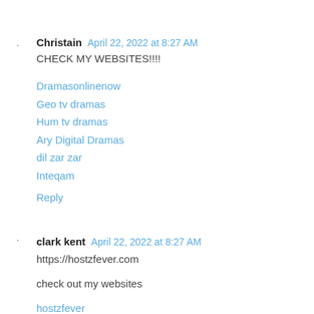Christain  April 22, 2022 at 8:27 AM
CHECK MY WEBSITES!!!!
Dramasonlinenow
Geo tv dramas
Hum tv dramas
Ary Digital Dramas
dil zar zar
Inteqam
Reply
clark kent  April 22, 2022 at 8:27 AM
https://hostzfever.com
check out my websites
hostzfever
Apps